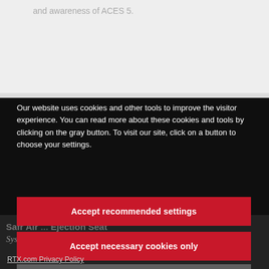and awareness of ACES 5.
Our website uses cookies and other tools to improve the visitor experience. You can read more about these cookies and tools by clicking on the gray button. To visit our site, click on a button to choose your settings.
Accept recommended settings
Accept necessary cookies only
Manage settings
System for Boeing T-X Trainer
RTX.com Privacy Policy